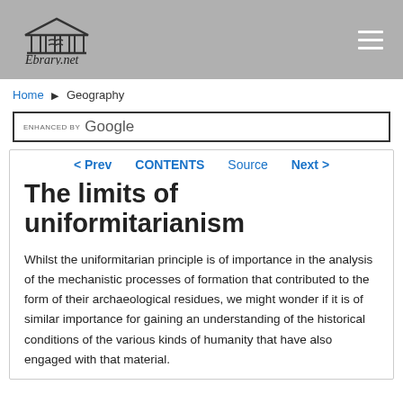Ebrary.net
Home ▶ Geography
ENHANCED BY Google
< Prev   CONTENTS   Source   Next >
The limits of uniformitarianism
Whilst the uniformitarian principle is of importance in the analysis of the mechanistic processes of formation that contributed to the form of their archaeological residues, we might wonder if it is of similar importance for gaining an understanding of the historical conditions of the various kinds of humanity that have also engaged with that material.